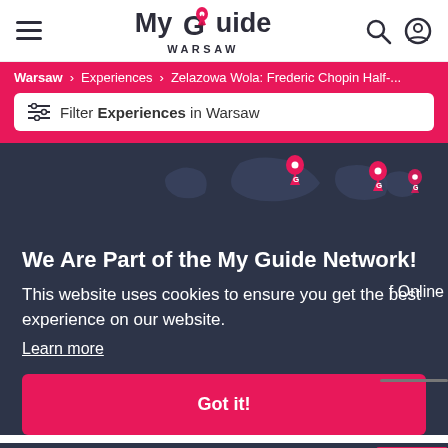My Guide Warsaw
Warsaw > Experiences > Zelazowa Wola: Frederic Chopin Half-...
Filter Experiences in Warsaw
[Figure (map): Dark world map with pink location pin markers]
We Are Part of the My Guide Network!
This website uses cookies to ensure you get the best experience on our website. Learn more
Got it!